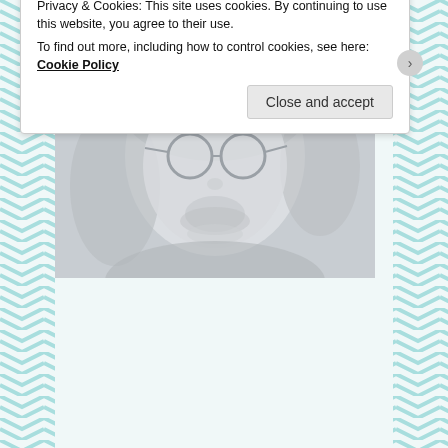1988? Apply
Camp Lejeune Lawsuit Settlement
[Figure (photo): Close-up faded grayscale photo of a young man with long hair and round glasses, looking slightly off-camera]
Privacy & Cookies: This site uses cookies. By continuing to use this website, you agree to their use.
To find out more, including how to control cookies, see here: Cookie Policy
Close and accept